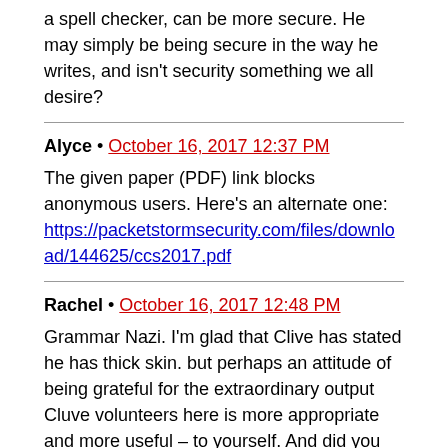a spell checker, can be more secure. He may simply be being secure in the way he writes, and isn't security something we all desire?
Alyce • October 16, 2017 12:37 PM
The given paper (PDF) link blocks anonymous users. Here's an alternate one: https://packetstormsecurity.com/files/download/144625/ccs2017.pdf
Rachel • October 16, 2017 12:48 PM
Grammar Nazi. I'm glad that Clive has stated he has thick skin. but perhaps an attitude of being grateful for the extraordinary output Cluve volunteers here is more appropriate and more useful – to yourself. And did you happen to read of the physical condition Clive endures 24/7 ? finally to be quite honest I have no concept of the grammar and spelling errors you speak of. His writing is more , more than fine.
I'd suggest you be quiet and enjoy the brilliance.